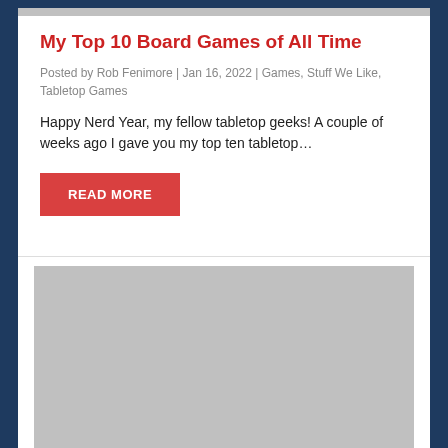My Top 10 Board Games of All Time
Posted by Rob Fenimore | Jan 16, 2022 | Games, Stuff We Like, Tabletop Games
Happy Nerd Year, my fellow tabletop geeks! A couple of weeks ago I gave you my top ten tabletop…
[Figure (other): Gray placeholder image for a second article]